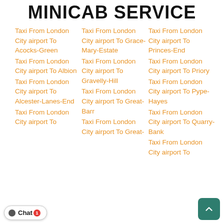MINICAB SERVICE
Taxi From London City airport To Acocks-Green
Taxi From London City airport To Albion
Taxi From London City airport To Alcester-Lanes-End
Taxi From London City airport To
Taxi From London City airport To Grace-Mary-Estate
Taxi From London City airport To Gravelly-Hill
Taxi From London City airport To Great-Barr
Taxi From London City airport To Great-
Taxi From London City airport To Princes-End
Taxi From London City airport To Priory
Taxi From London City airport To Pype-Hayes
Taxi From London City airport To Quarry-Bank
Taxi From London City airport To